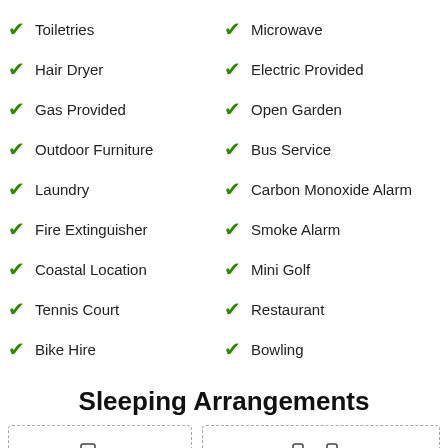Toiletries
Microwave
Hair Dryer
Electric Provided
Gas Provided
Open Garden
Outdoor Furniture
Bus Service
Laundry
Carbon Monoxide Alarm
Fire Extinguisher
Smoke Alarm
Coastal Location
Mini Golf
Tennis Court
Restaurant
Bike Hire
Bowling
Sleeping Arrangements
[Figure (illustration): Two bed icons in dashed border boxes representing sleeping arrangements]